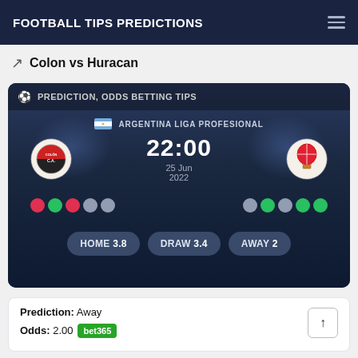FOOTBALL TIPS PREDICTIONS
Colon vs Huracan
[Figure (screenshot): Match prediction card showing Colon vs Huracan, Argentina Liga Profesional, kickoff 22:00, 25 Jun 2022. Team logos shown. Form dots for each team. Odds: HOME 3.8, DRAW 3.4, AWAY 2.]
Prediction: Away
Odds: 2.00  bet365